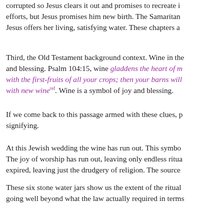corrupted so Jesus clears it out and promises to recreate it. Nicodemus tries every human efforts, but Jesus promises him new birth. The Samaritan woman is religiously dehydrated; Jesus offers her living, satisfying water. These chapters ar
Third, the Old Testament background context. Wine in the... and blessing. Psalm 104:15, wine gladdens the heart of m... with the first-fruits of all your crops; then your barns will... with new wine[ref]. Wine is a symbol of joy and blessing.
If we come back to this passage armed with these clues, p... signifying.
At this Jewish wedding the wine has run out. This symbo... The joy of worship has run out, leaving only endless ritua... expired, leaving just the drudgery of religion. The source
These six stone water jars show us the extent of the ritual... going well beyond what the law actually required in terms
So Jesus commands that these jars be filled to the brim, w... And then he makes the transformation: this vast quantity ... that gladdens the heart.
And not only is there a huge amount of it, it is better than... brings out the choice wine first and then the cheaper wine... have saved the best till now[ref].